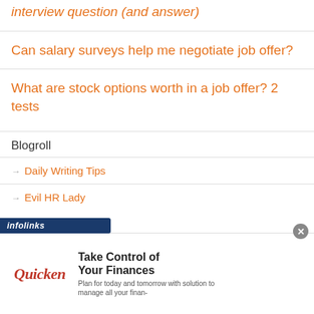interview question (and answer)
Can salary surveys help me negotiate job offer?
What are stock options worth in a job offer? 2 tests
Blogroll
Daily Writing Tips
Evil HR Lady
[Figure (screenshot): infolinks branding bar at bottom left]
[Figure (screenshot): Quicken advertisement overlay: Take Control of Your Finances. Plan for today and tomorrow with solution to manage all your finan-]